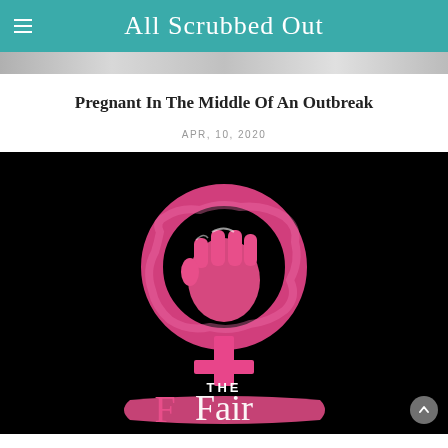All Scrubbed Out
[Figure (photo): Cropped photo strip at top of page, partially visible grayscale image]
Pregnant In The Middle Of An Outbreak
APR, 10, 2020
[Figure (illustration): Black background with pink watercolor female symbol (circle with cross) containing a raised pink fist in center, with text 'THE Fair' in pink/white script at bottom]